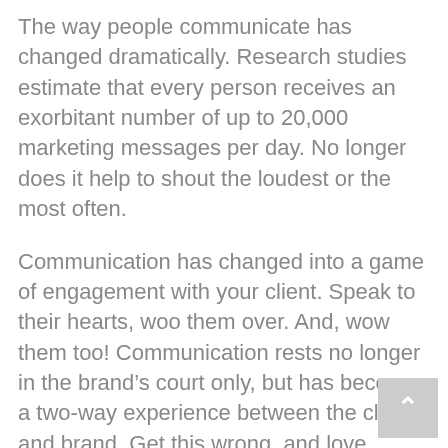The way people communicate has changed dramatically. Research studies estimate that every person receives an exorbitant number of up to 20,000 marketing messages per day. No longer does it help to shout the loudest or the most often.
Communication has changed into a game of engagement with your client. Speak to their hearts, woo them over. And, wow them too! Communication rests no longer in the brand’s court only, but has become a two-way experience between the client and brand. Get this wrong, and love would be no more than a lost tennis game.
Playing in the social media sphere needs attention, time and knowledge…and